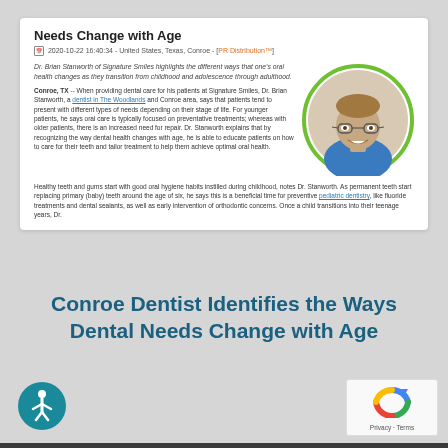Needs Change with Age
2020-10-22 16:40:34 - United States, Texas, Conroe - [PR Distribution™]
Dr. Brian Stanworth of Signature Smiles highlights the different ways that one's oral health changes as they transition from childhood and adolescence through adulthood.
Conroe, TX -- When providing dental care for his patients at Signature Smiles, Dr. Brian Stanworth, a dentist in The Woodlands and Conroe area, says that patients tend to present with different types of needs depending on their stage of life. For younger patients, he says oral care is typically focused on preventative treatments; whereas with older patients, there is an increased need for repair. Dr. Stanworth explains that by recognizing the way dental health changes with age, he is able to educate patients on how to care for their teeth and tailor treatment to help them achieve optimal oral health.
Healthy teeth and gums start with good oral hygiene habits instilled during childhood, notes Dr. Stanworth. As permanent teeth start replacing primary (baby) teeth around the age of six, he says this is a beneficial time for preventive pediatric dentistry, like fluoride treatments and dental sealants, as well as early intervention of orthodontic concerns. Once a child transitions into their teenage years, Dr.
[Figure (photo): Headshot photo of Dr. Brian Stanworth in a circular frame with green border, wearing blue scrubs and glasses, smiling.]
Conroe Dentist Identifies the Ways Dental Needs Change with Age